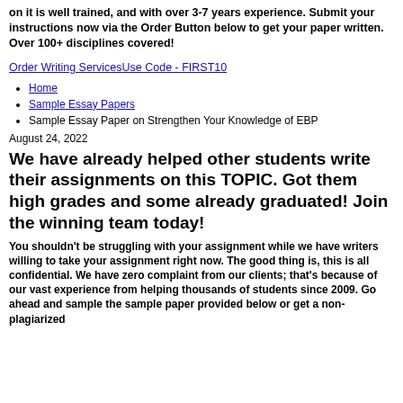on it is well trained, and with over 3-7 years experience. Submit your instructions now via the Order Button below to get your paper written. Over 100+ disciplines covered!
Order Writing ServicesUse Code - FIRST10
Home
Sample Essay Papers
Sample Essay Paper on Strengthen Your Knowledge of EBP
August 24, 2022
We have already helped other students write their assignments on this TOPIC. Got them high grades and some already graduated! Join the winning team today!
You shouldn’t be struggling with your assignment while we have writers willing to take your assignment right now. The good thing is, this is all confidential. We have zero complaint from our clients; that’s because of our vast experience from helping thousands of students since 2009. Go ahead and sample the sample paper provided below or get a non-plagiarized